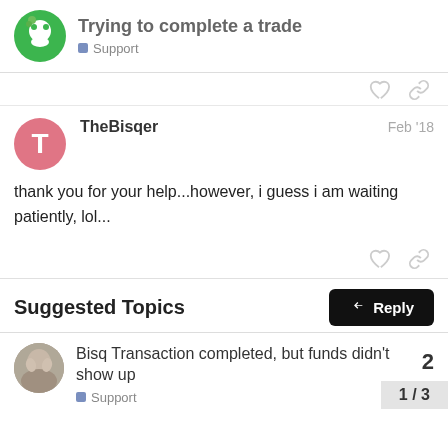Trying to complete a trade — Support
thank you for your help...however, i guess i am waiting patiently, lol...
TheBisqer  Feb '18
Suggested Topics
Bisq Transaction completed, but funds didn't show up — Support  2
1 / 3